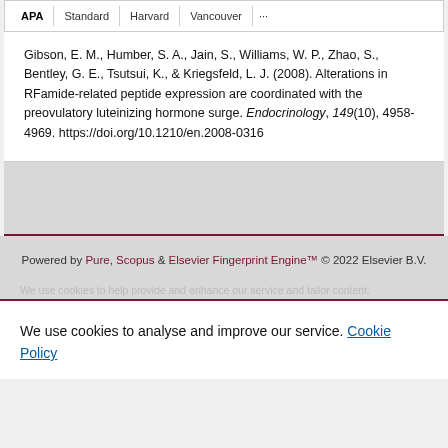| APA | Standard | Harvard | Vancouver | ... |
| --- | --- | --- | --- | --- |
Gibson, E. M., Humber, S. A., Jain, S., Williams, W. P., Zhao, S., Bentley, G. E., Tsutsui, K., & Kriegsfeld, L. J. (2008). Alterations in RFamide-related peptide expression are coordinated with the preovulatory luteinizing hormone surge. Endocrinology, 149(10), 4958-4969. https://doi.org/10.1210/en.2008-0316
Powered by Pure, Scopus & Elsevier Fingerprint Engine™ © 2022 Elsevier B.V.
We use cookies to analyse and improve our service. Cookie Policy